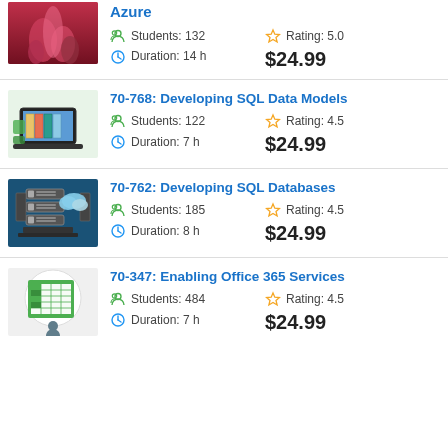Azure | Students: 132 | Duration: 14 h | Rating: 5.0 | $24.99
70-768: Developing SQL Data Models | Students: 122 | Duration: 7 h | Rating: 4.5 | $24.99
70-762: Developing SQL Databases | Students: 185 | Duration: 8 h | Rating: 4.5 | $24.99
70-347: Enabling Office 365 Services | Students: 484 | Duration: 7 h | Rating: 4.5 | $24.99